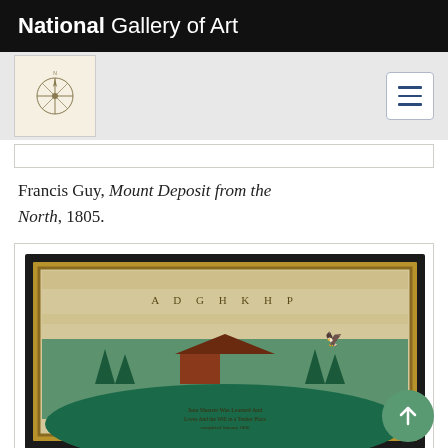National Gallery of Art
Francis Guy, Mount Deposit from the North, 1805.
[Figure (photo): Framed needlework sampler depicting a brick house with terraces, trees, birds, and alphabets, with inscriptions at the bottom. Jane Shearer, Brick House with Terraces, 1806.]
Jane Shearer, Brick House with Terraces, 1806.